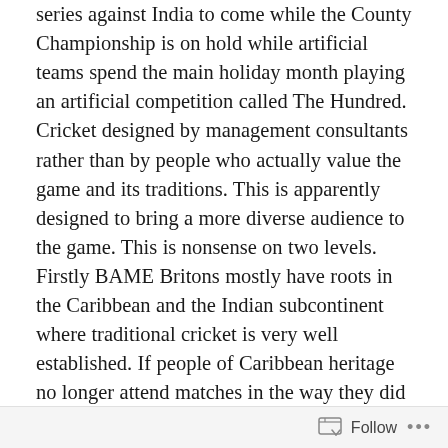series against India to come while the County Championship is on hold while artificial teams spend the main holiday month playing an artificial competition called The Hundred. Cricket designed by management consultants rather than by people who actually value the game and its traditions. This is apparently designed to bring a more diverse audience to the game. This is nonsense on two levels. Firstly BAME Britons mostly have roots in the Caribbean and the Indian subcontinent where traditional cricket is very well established. If people of Caribbean heritage no longer attend matches in the way they did forty years ago this may have more to do with excessive ticket prices and a feeling that they are not welcome (I remember heavy handed confiscation of steel drums at Test matches in the 80s and media comment that bordered on racism) than because there was no silly competition to attract them. And, as for the implication
Follow ...